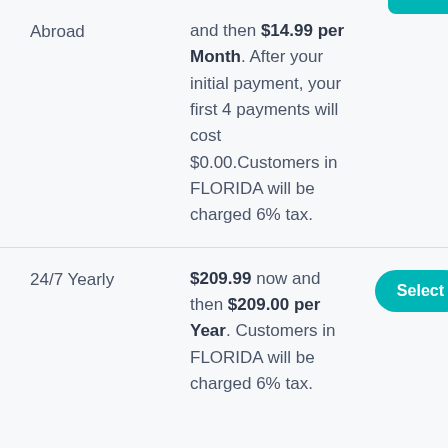Abroad
and then $14.99 per Month. After your initial payment, your first 4 payments will cost $0.00.Customers in FLORIDA will be charged 6% tax.
24/7 Yearly
$209.99 now and then $209.00 per Year. Customers in FLORIDA will be charged 6% tax.